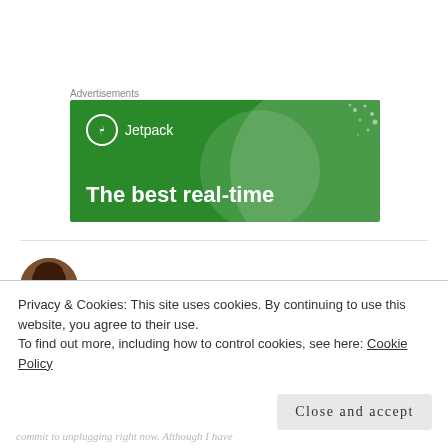Advertisements
[Figure (screenshot): Jetpack advertisement banner with green background showing 'The best real-time' tagline and Jetpack logo]
Anna
Privacy & Cookies: This site uses cookies. By continuing to use this website, you agree to their use.
To find out more, including how to control cookies, see here: Cookie Policy
Close and accept
commit to unplugging right now. Although I have